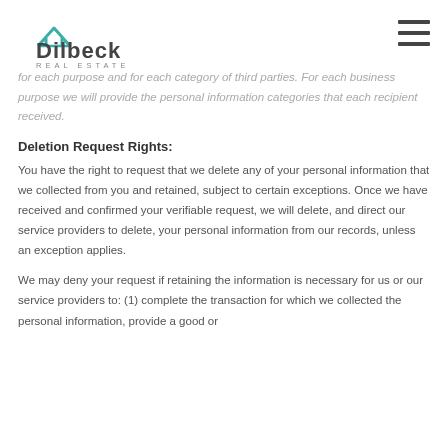[Figure (logo): Dilbeck Real Estate logo with teal roof icon and company name]
business purpose we will provide the personal information categories that each recipient received.
Deletion Request Rights:
You have the right to request that we delete any of your personal information that we collected from you and retained, subject to certain exceptions. Once we have received and confirmed your verifiable request, we will delete, and direct our service providers to delete, your personal information from our records, unless an exception applies.
We may deny your request if retaining the information is necessary for us or our service providers to: (1) complete the transaction for which we collected the personal information, provide a good or